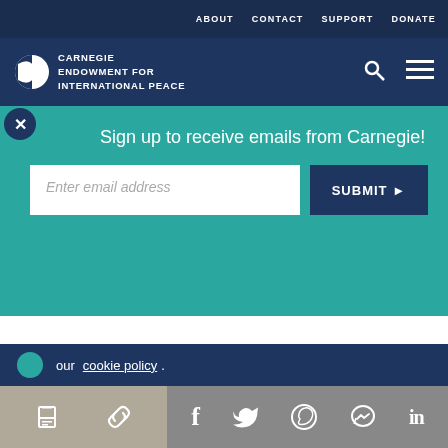ABOUT  CONTACT  SUPPORT  DONATE
[Figure (logo): Carnegie Endowment for International Peace logo with circular icon and white text on dark navy background, with search and menu icons]
investments and secured contracts.
Sign up to receive emails from Carnegie!
Enter email address  SUBMIT
our cookie policy.
Share icons: print, link, Facebook, Twitter, WhatsApp, Messenger, LinkedIn